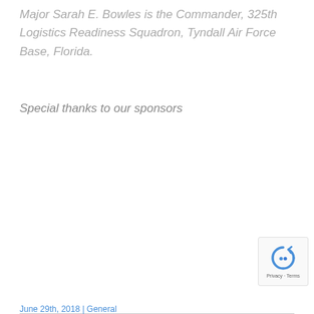Major Sarah E. Bowles is the Commander, 325th Logistics Readiness Squadron, Tyndall Air Force Base, Florida.
Special thanks to our sponsors
June 29th, 2018 | General